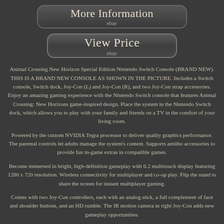[Figure (other): Button labeled 'More Information' with 'ebay' subtitle, dark rounded rectangle style]
[Figure (other): Button labeled 'View Price' with 'ebay' subtitle, dark rounded rectangle style]
Animal Crossing New Horizon Special Edition Nintendo Switch Console (BRAND NEW). THIS IS A BRAND NEW CONSOLE AS SHOWN IN THE PICTURE. Includes a Switch console, Switch dock, Joy-Con (L) and Joy-Con (R), and two Joy-Con strap accessories. Enjoy an amazing gaming experience with the Nintendo Switch console that features Animal Crossing: New Horizons game-inspired design. Place the system in the Nintendo Switch dock, which allows you to play with your family and friends on a TV in the comfort of your living room.
Powered by the custom NVIDIA Tegra processor to deliver quality graphics performance. The parental controls let adults manage the system's content. Supports amiibo accessories to provide fun in-game extras in compatible games.
Become immersed in bright, high-definition gameplay with 6.2 multitouch display featuring 1280 x 720 resolution. Wireless connectivity for multiplayer and co-op play. Flip the stand to share the screen for instant multiplayer gaming.
Comes with two Joy-Con controllers, each with an analog stick, a full complement of face and shoulder buttons, and an HD rumble. The IR motion camera in right Joy-Con adds new gameplay opportunities.